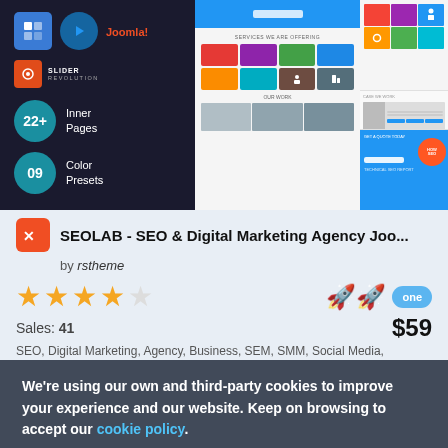[Figure (screenshot): Website template preview showing dark left panel with logos (Helix, SkyPage Builder Pro, Joomla), Slider Revolution badge, 22+ Inner Pages stat, 09 Color Presets stat, and right side showing website screenshots]
SEOLAB - SEO & Digital Marketing Agency Joo...
by rstheme
[Figure (infographic): 4 orange/gold filled stars and 1 empty star rating, plus rocket emoji badges and 'one' badge]
Sales: 41
$59
We're using our own and third-party cookies to improve your experience and our website. Keep on browsing to accept our cookie policy.
Accept